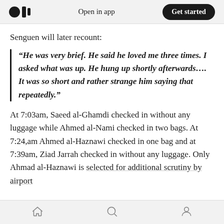Open in app  Get started
Senguen will later recount:
“He was very brief. He said he loved me three times. I asked what was up. He hung up shortly afterwards…. It was so short and rather strange him saying that repeatedly.”
At 7:03am, Saeed al-Ghamdi checked in without any luggage while Ahmed al-Nami checked in two bags. At 7:24,am Ahmed al-Haznawi checked in one bag and at 7:39am, Ziad Jarrah checked in without any luggage. Only Ahmad al-Haznawi is selected for additional scrutiny by airport
Home  Search  Profile